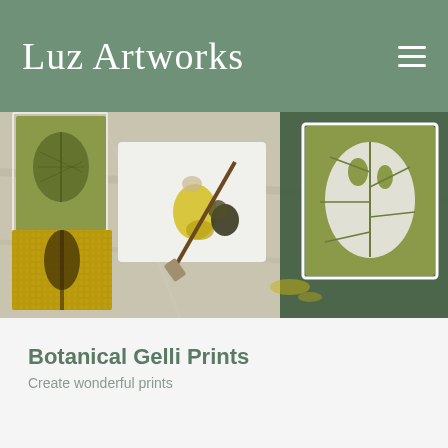Luz Artworks
[Figure (photo): Overhead flat-lay photo of botanical gelli printing supplies on a marble surface: several art cards with leaf prints in olive green and gold tones, a white paint palette with yellow paint and brush strokes, a flat brush, and a large monstera leaf print in green and white.]
Botanical Gelli Prints
Create wonderful prints